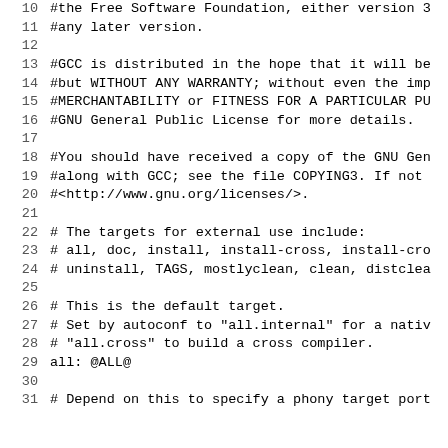10  #the Free Software Foundation, either version 3
11  #any later version.
12
13  #GCC is distributed in the hope that it will be
14  #but WITHOUT ANY WARRANTY; without even the imp
15  #MERCHANTABILITY or FITNESS FOR A PARTICULAR PU
16  #GNU General Public License for more details.
17
18  #You should have received a copy of the GNU Gen
19  #along with GCC; see the file COPYING3.  If not
20  #<http://www.gnu.org/licenses/>.
21
22  # The targets for external use include:
23  # all, doc, install, install-cross, install-cro
24  # uninstall, TAGS, mostlyclean, clean, distclea
25
26  # This is the default target.
27  # Set by autoconf to "all.internal" for a nativ
28  # "all.cross" to build a cross compiler.
29  all: @ALL@
30
31  # Depend on this to specify a phony target port